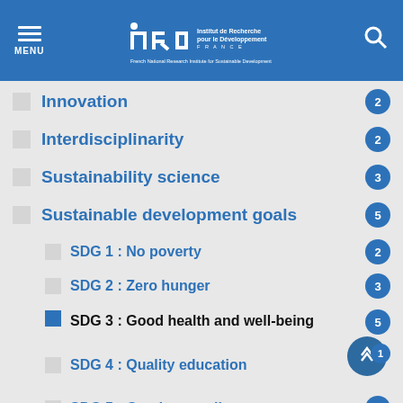IRD - Institut de Recherche pour le Développement - French National Research Institute for Sustainable Development
Innovation 2
Interdisciplinarity 2
Sustainability science 3
Sustainable development goals 5
SDG 1 : No poverty 2
SDG 2 : Zero hunger 3
SDG 3 : Good health and well-being 5
SDG 4 : Quality education 1
SDG 5 : Gender equality 1